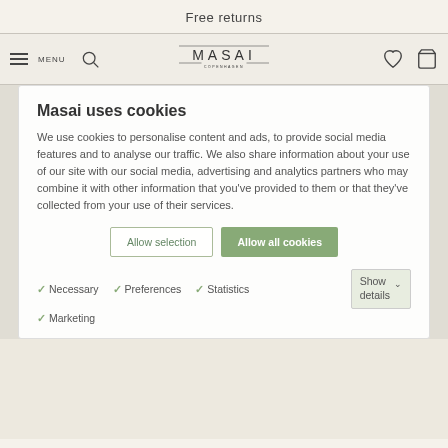Free returns
[Figure (screenshot): Masai Copenhagen navigation bar with menu icon, search icon, logo, heart/wishlist icon, and shopping bag icon]
Masai uses cookies
We use cookies to personalise content and ads, to provide social media features and to analyse our traffic. We also share information about your use of our site with our social media, advertising and analytics partners who may combine it with other information that you've provided to them or that they've collected from your use of their services.
Allow selection | Allow all cookies
✓ Necessary  ✓ Preferences  ✓ Statistics  ✓ Marketing  Show details